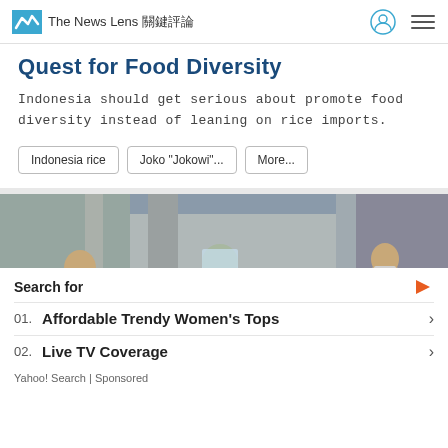The News Lens 關鍵評論
Quest for Food Diversity
Indonesia should get serious about promote food diversity instead of leaning on rice imports.
Indonesia rice
Joko "Jokowi"...
More...
[Figure (photo): People in an airport/transit area wearing masks and face shields during COVID-19 pandemic]
Search for
01. Affordable Trendy Women's Tops
02. Live TV Coverage
Yahoo! Search | Sponsored